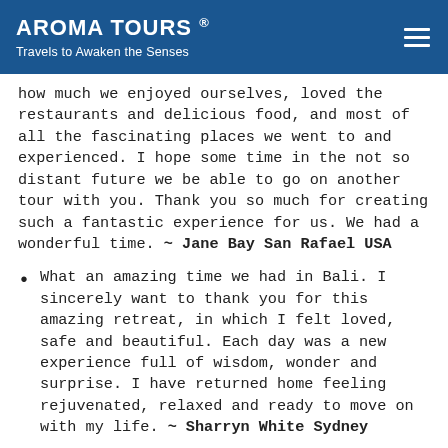AROMA TOURS ® Travels to Awaken the Senses
how much we enjoyed ourselves, loved the restaurants and delicious food, and most of all the fascinating places we went to and experienced. I hope some time in the not so distant future we be able to go on another tour with you. Thank you so much for creating such a fantastic experience for us. We had a wonderful time. ~ Jane Bay San Rafael USA
What an amazing time we had in Bali. I sincerely want to thank you for this amazing retreat, in which I felt loved, safe and beautiful. Each day was a new experience full of wisdom, wonder and surprise. I have returned home feeling rejuvenated, relaxed and ready to move on with my life. ~ Sharryn White Sydney